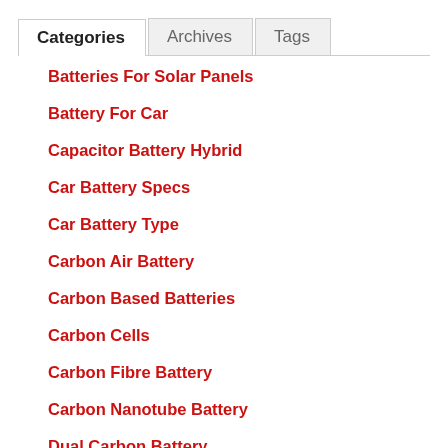Categories
Archives
Tags
Batteries For Solar Panels
Battery For Car
Capacitor Battery Hybrid
Car Battery Specs
Car Battery Type
Carbon Air Battery
Carbon Based Batteries
Carbon Cells
Carbon Fibre Battery
Carbon Nanotube Battery
Dual Carbon Battery
Electric Car Battery